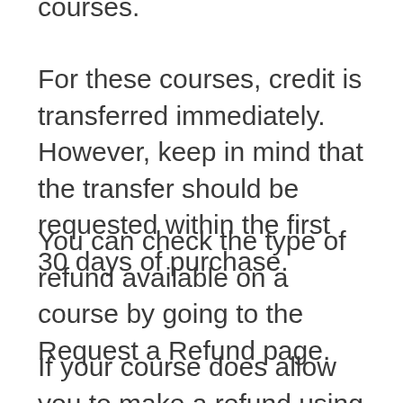courses.
For these courses, credit is transferred immediately. However, keep in mind that the transfer should be requested within the first 30 days of purchase.
You can check the type of refund available on a course by going to the Request a Refund page.
If your course does allow you to make a refund using your original payment method, you may still choose to receive the refund in the form of Udemy credits, so you can transfer them to another course that interests you more. These credits can be used for any course in any